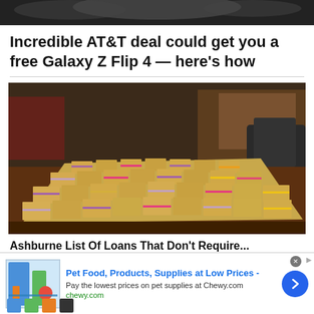[Figure (photo): Dark smoky top image strip at top of webpage]
Incredible AT&T deal could get you a free Galaxy Z Flip 4 — here's how
[Figure (photo): Large stacks of bundled US dollar bills piled on a wooden table, viewed from above at an angle, in an office setting with chairs and furniture in background]
Ashburne List Of Loans That Don't Require...
[Figure (other): Advertisement banner: Pet Food, Products, Supplies at Low Prices - chewy.com. Shows product images and a blue arrow button.]